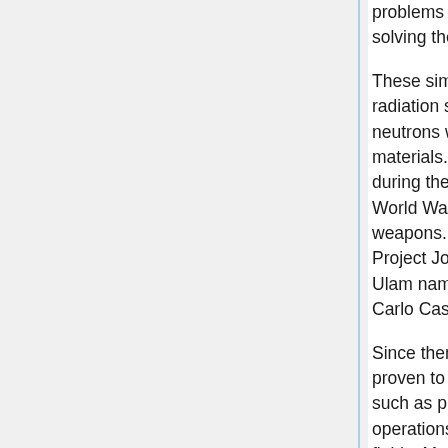problems using a probabilistic analog and solving the problem probabilistically.
These simulations were used in investigating radiation shielding and the distance that neutrons would likely travel through various materials. This form of simulation was used during the Manhattan Project, the American World War II effort to develop nuclear weapons. During their work on the Manhattan Project John von Neumann and Stanislaw Ulam named the method after the Monte Carlo Casino in Monaco.
Since then Monte Carlo simulations have proven to be extremely useful in other fields such as physics, physical chemistry, operations research, business, and medical fields. Monte Carlo simulation is now a much-used scientific tool for problems that are